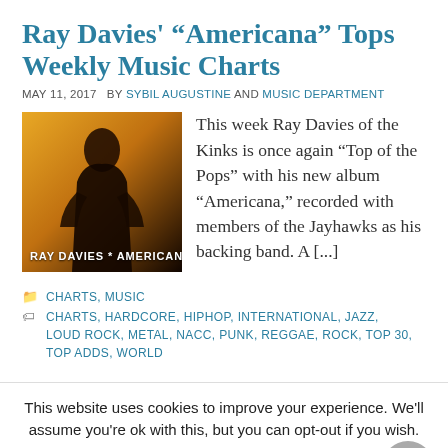Ray Davies' “Americana” Tops Weekly Music Charts
MAY 11, 2017   BY SYBIL AUGUSTINE AND MUSIC DEPARTMENT
[Figure (photo): Album cover for Ray Davies 'Americana' showing a silhouette of a person against a warm amber/orange background with text 'RAY DAVIES * AMERICANA' at the bottom]
This week Ray Davies of the Kinks is once again “Top of the Pops” with his new album “Americana,” recorded with members of the Jayhawks as his backing band. A [...]
CHARTS, MUSIC
CHARTS, HARDCORE, HIPHOP, INTERNATIONAL, JAZZ, LOUD ROCK, METAL, NACC, PUNK, REGGAE, ROCK, TOP 30, TOP ADDS, WORLD
This website uses cookies to improve your experience. We'll assume you're ok with this, but you can opt-out if you wish.
Cookie settings   ACCEPT   Reject